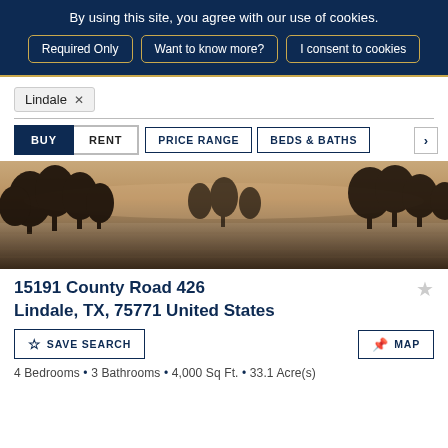By using this site, you agree with our use of cookies.
Required Only
Want to know more?
I consent to cookies
Lindale ×
BUY
RENT
PRICE RANGE
BEDS & BATHS
[Figure (photo): Lakeside landscape at dusk with tree silhouettes reflected in still water]
15191 County Road 426
Lindale, TX, 75771 United States
SAVE SEARCH
MAP
4 Bedrooms • 3 Bathrooms • 4,000 Sq Ft. • 33.1 Acre(s)